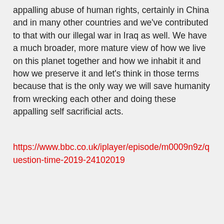appalling abuse of human rights, certainly in China and in many other countries and we've contributed to that with our illegal war in Iraq as well. We have a much broader, more mature view of how we live on this planet together and how we inhabit it and how we preserve it and let's think in those terms because that is the only way we will save humanity from wrecking each other and doing these appalling self sacrificial acts.
https://www.bbc.co.uk/iplayer/episode/m0009n9z/question-time-2019-24102019